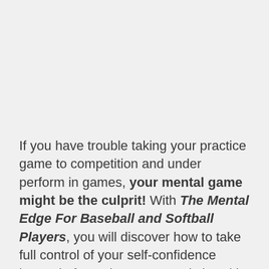If you have trouble taking your practice game to competition and under perform in games, your mental game might be the culprit! With The Mental Edge For Baseball and Softball Players, you will discover how to take full control of your self-confidence instead of reacting to every pitch. With this new audio and workbook program, you'll learn you how to improve your mental game in 8 easy-to-apply-